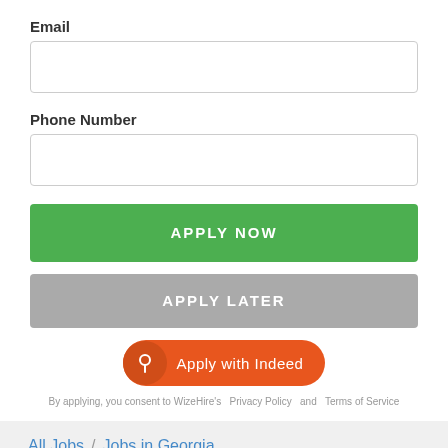Email
Phone Number
APPLY NOW
APPLY LATER
Apply with Indeed
By applying, you consent to WizeHire's  Privacy Policy  and  Terms of Service
All Jobs / Jobs in Georgia / South Atlanta Family Law Jobs / Junior Attorney